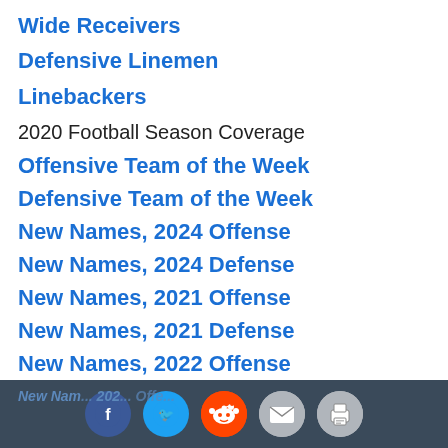Wide Receivers
Defensive Linemen
Linebackers
2020 Football Season Coverage
Offensive Team of the Week
Defensive Team of the Week
New Names, 2024 Offense
New Names, 2024 Defense
New Names, 2021 Offense
New Names, 2021 Defense
New Names, 2022 Offense
New Names, 2022 Defense
New Names, 202... Offe... [social share buttons: Facebook, Twitter, Reddit, Email, Print]